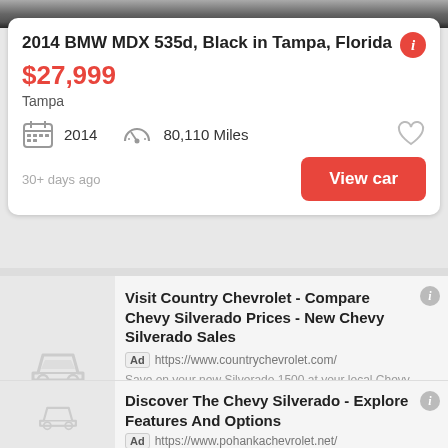[Figure (photo): Partial car image strip at top of page]
2014 BMW MDX 535d, Black in Tampa, Florida
$27,999
Tampa
2014  80,110 Miles
30+ days ago
View car
Visit Country Chevrolet - Compare Chevy Silverado Prices - New Chevy Silverado Sales
Ad https://www.countrychevrolet.com/
Save on your new Silverado 1500 at your local Chevy dealer. Explore inventory online! Take...
Visit Website ❯
Discover The Chevy Silverado - Explore Features And Options
Ad https://www.pohankachevrolet.net/
Visit Pohanka Chevrolet online now to find